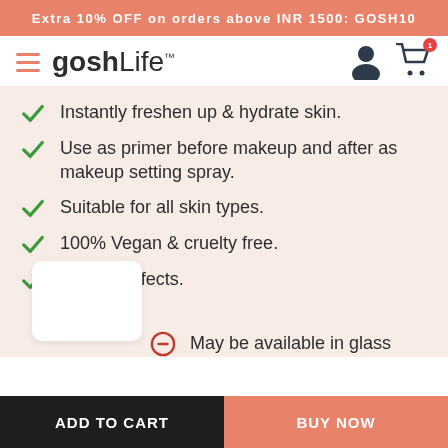Extra 10% OFF on orders above INR 1500: GOSH10
[Figure (logo): goshLife logo with hamburger menu, user icon, and cart icon with badge]
Instantly freshen up & hydrate skin.
Use as primer before makeup and after as makeup setting spray.
Suitable for all skin types.
100% Vegan & cruelty free.
No side effects.
May be available in glass bottle (truncated)
ADD TO CART
BUY NOW